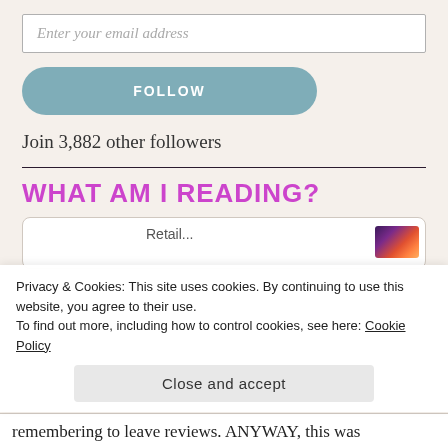Enter your email address
FOLLOW
Join 3,882 other followers
WHAT AM I READING?
[Figure (screenshot): Partially visible reading card with thumbnail image]
Privacy & Cookies: This site uses cookies. By continuing to use this website, you agree to their use.
To find out more, including how to control cookies, see here: Cookie Policy
Close and accept
remembering to leave reviews. ANYWAY, this was